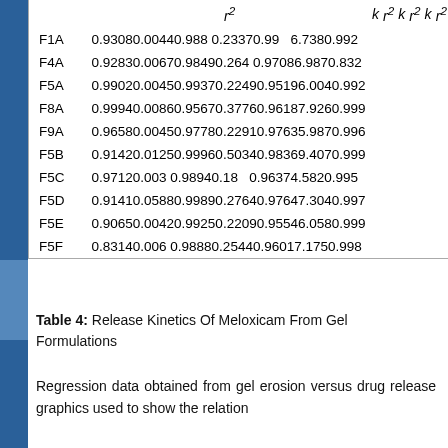|  | r² | k | r² | k | r² | k | r² |
| --- | --- | --- | --- | --- | --- | --- | --- |
| F1A | 0.9308 | 0.0044 | 0.988 | 0.2337 | 0.99 | 6.738 | 0.992 |
| F4A | 0.9283 | 0.0067 | 0.9849 | 0.264 | 0.9708 | 6.987 | 0.832 |
| F5A | 0.9902 | 0.0045 | 0.9937 | 0.2249 | 0.9519 | 6.004 | 0.992 |
| F8A | 0.9994 | 0.0086 | 0.9567 | 0.3776 | 0.9618 | 7.926 | 0.999 |
| F9A | 0.9658 | 0.0045 | 0.9778 | 0.2291 | 0.9763 | 5.987 | 0.996 |
| F5B | 0.9142 | 0.0125 | 0.9996 | 0.5034 | 0.9836 | 9.407 | 0.999 |
| F5C | 0.9712 | 0.003 | 0.9894 | 0.18 | 0.9637 | 4.582 | 0.995 |
| F5D | 0.9141 | 0.0588 | 0.9989 | 0.2764 | 0.9764 | 7.304 | 0.997 |
| F5E | 0.9065 | 0.0042 | 0.9925 | 0.2209 | 0.9554 | 6.058 | 0.999 |
| F5F | 0.8314 | 0.006 | 0.9888 | 0.2544 | 0.9601 | 7.175 | 0.998 |
Table 4: Release Kinetics Of Meloxicam From Gel Formulations
Regression data obtained from gel erosion versus drug release graphics used to show the relation